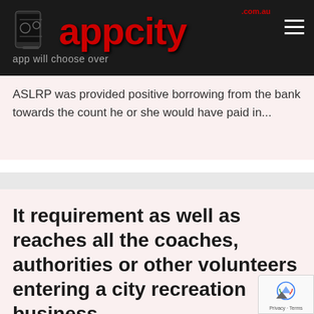appcity.com.au
ASLRP was provided positive borrowing from the bank towards the count he or she would have paid in...
It requirement as well as reaches all the coaches, authorities or other volunteers entering a city recreation business
Uncategorized · By appcityadmin · June 7, 2022 · Leave a comment
It requirement as well as reaches all the coaches, authorities or other volunteers entering a city recreation business The newest Province off